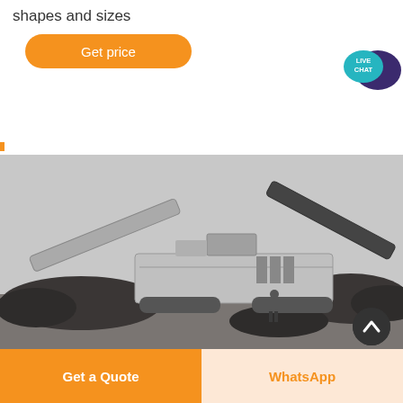shapes and sizes
[Figure (other): Orange rounded button labeled 'Get price']
[Figure (other): Live chat speech bubble badge with teal and dark purple colors, text 'LIVE CHAT']
[Figure (photo): Large industrial mobile crushing/screening machine with conveyor belts in an outdoor quarry or aggregate site, with piles of dark rock material and a worker visible in the background. Black and white/grey tones.]
[Figure (other): Dark circular scroll-to-top button with upward chevron arrow]
[Figure (other): Bottom action bar with two buttons: orange 'Get a Quote' button on the left and light orange 'WhatsApp' button on the right]